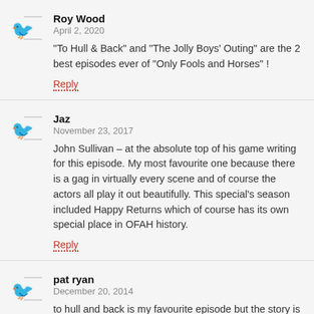Roy Wood
April 2, 2020
"To Hull & Back" and "The Jolly Boys' Outing" are the 2 best episodes ever of "Only Fools and Horses" !
Reply
Jaz
November 23, 2017
John Sullivan – at the absolute top of his game writing for this episode. My most favourite one because there is a gag in virtually every scene and of course the actors all play it out beautifully. This special's season included Happy Returns which of course has its own special place in OFAH history.
Reply
pat ryan
December 20, 2014
to hull and back is my favourite episode but the story is pointless because van cleef ring slater to tell him who the courier is, but i still love this show.